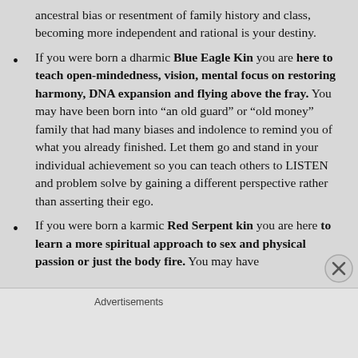ancestral bias or resentment of family history and class, becoming more independent and rational is your destiny.
If you were born a dharmic Blue Eagle Kin you are here to teach open-mindedness, vision, mental focus on restoring harmony, DNA expansion and flying above the fray. You may have been born into “an old guard” or “old money” family that had many biases and indolence to remind you of what you already finished. Let them go and stand in your individual achievement so you can teach others to LISTEN and problem solve by gaining a different perspective rather than asserting their ego.
If you were born a karmic Red Serpent kin you are here to learn a more spiritual approach to sex and physical passion or just the body fire. You may have
Advertisements